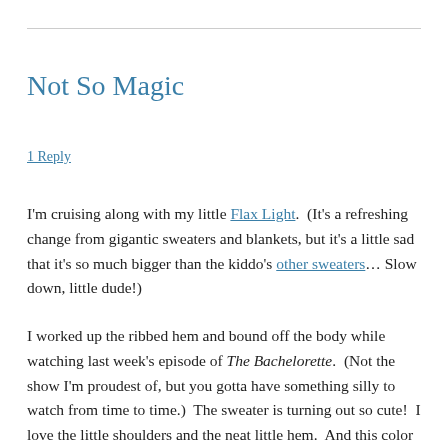Not So Magic
1 Reply
I'm cruising along with my little Flax Light.  (It's a refreshing change from gigantic sweaters and blankets, but it's a little sad that it's so much bigger than the kiddo's other sweaters… Slow down, little dude!)
I worked up the ribbed hem and bound off the body while watching last week's episode of The Bachelorette.  (Not the show I'm proudest of, but you gotta have something silly to watch from time to time.)  The sweater is turning out so cute!  I love the little shoulders and the neat little hem.  And this color is going to be so flattering on the kid…